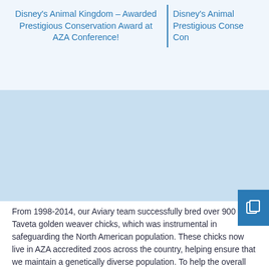Disney's Animal Kingdom – Awarded Prestigious Conservation Award at AZA Conference!
[Figure (photo): Photo area showing content related to Disney's Animal Kingdom conservation award]
From 1998-2014, our Aviary team successfully bred over 900 Taveta golden weaver chicks, which was instrumental in safeguarding the North American population. These chicks now live in AZA accredited zoos across the country, helping ensure that we maintain a genetically diverse population. To help the overall profession, the team also published two articles in scientific peer reviewed journals, and they have shared research findings and best practices at various conference sessions over the years. Please join me in